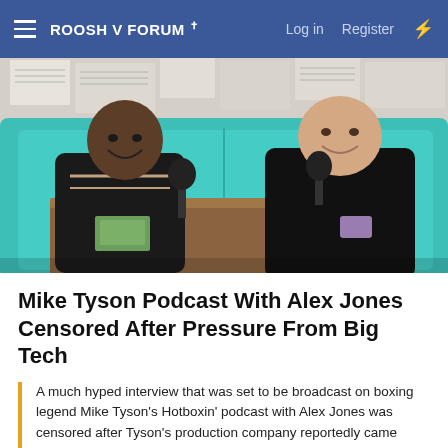ROOSH V FORUM | Log in  Register
[Figure (photo): Two men sitting at a wooden table in a diner booth with teal upholstered seats and newspaper-covered walls. The man on the left is a muscular Black man in a black striped shirt, laughing. The man on the right is a heavyset white man in a black shirt, smiling. Both have microphones in front of them. A podcast recording setting.]
Mike Tyson Podcast With Alex Jones Censored After Pressure From Big Tech
A much hyped interview that was set to be broadcast on boxing legend Mike Tyson's Hotboxin' podcast with Alex Jones was censored after Tyson's production company reportedly came under pressure from Big Tech and other outside groups.
Tyson reached out to Jones in early April, telling him that he was